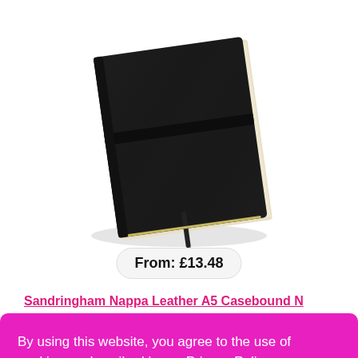[Figure (photo): Black A5 Nappa leather casebound notebook with elastic band closure and ribbon bookmark, photographed at an angle on white background]
From: £13.48
Sandringham Nappa Leather A5 Casebound N
By using this website, you agree to the use of cookies as described in our Privacy Policy.
I AGREE →